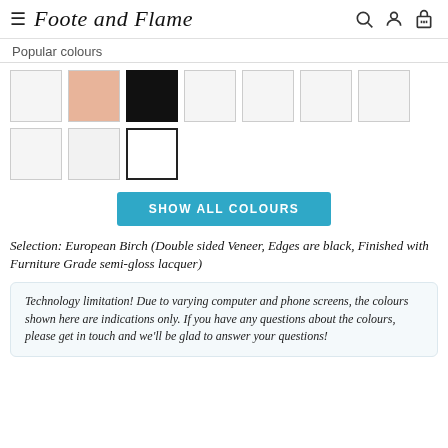Foote and Flame
Popular colours
[Figure (other): Grid of colour swatches: row 1 has 7 swatches (white, peach/pink, black, white, white, white, white); row 2 has 3 swatches (white, light grey, white with thick border/selected)]
SHOW ALL COLOURS
Selection: European Birch (Double sided Veneer, Edges are black, Finished with Furniture Grade semi-gloss lacquer)
Technology limitation! Due to varying computer and phone screens, the colours shown here are indications only. If you have any questions about the colours, please get in touch and we'll be glad to answer your questions!